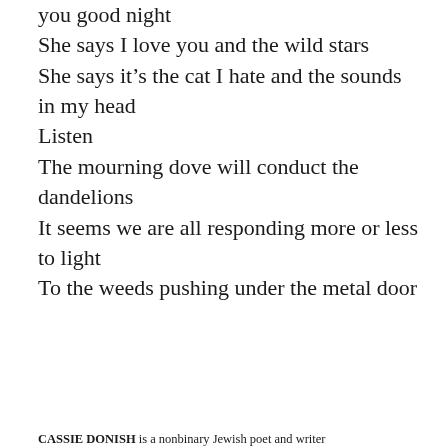you good night
She says I love you and the wild stars
She says it’s the cat I hate and the sounds in my head
Listen
The mourning dove will conduct the dandelions
It seems we are all responding more or less to light
To the weeds pushing under the metal door
CASSIE DONISH is a nonbinary Jewish poet and writer